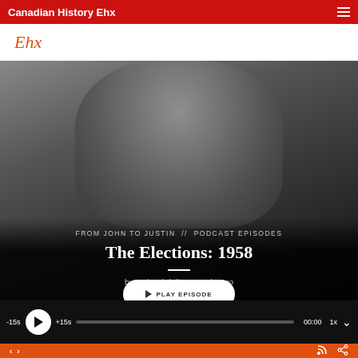Canadian History Ehx
Ehx
[Figure (photo): Black and white photo of a man (John Diefenbaker) with a serious expression, looking slightly downward, wearing a suit and tie. Dark background.]
FROM JOHN TO JUSTIN // PODCAST EPISODES
The Elections: 1958
by CraigBaird // 12 months ago
PLAY EPISODE
-15s  ▶  +15s  [progress bar]  00:00  1x